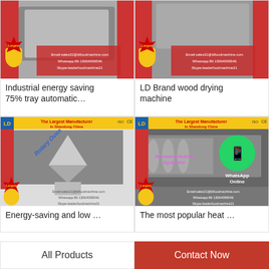[Figure (photo): Industrial energy saving tray automatic machine product image with contact info overlay]
Industrial energy saving 75% tray automatic…
[Figure (photo): LD Brand wood drying machine product image with contact info overlay]
LD Brand wood drying machine
[Figure (photo): Energy-saving rotary oven machine with The Largest Manufacturer In Shandong China banner]
Energy-saving and low …
[Figure (photo): Microwave heating equipment with WhatsApp Online overlay and The Largest Manufacturer banner]
The most popular heat …
All Products
Contact Now